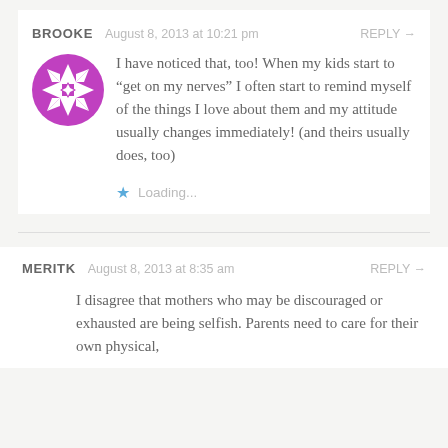BROOKE  August 8, 2013 at 10:21 pm  REPLY →
I have noticed that, too! When my kids start to “get on my nerves” I often start to remind myself of the things I love about them and my attitude usually changes immediately! (and theirs usually does, too)
Loading...
MERITK  August 8, 2013 at 8:35 am  REPLY →
I disagree that mothers who may be discouraged or exhausted are being selfish. Parents need to care for their own physical,